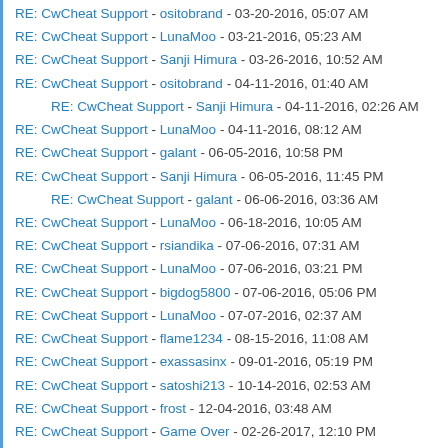RE: CwCheat Support - ositobrand - 03-20-2016, 05:07 AM
RE: CwCheat Support - LunaMoo - 03-21-2016, 05:23 AM
RE: CwCheat Support - Sanji Himura - 03-26-2016, 10:52 AM
RE: CwCheat Support - ositobrand - 04-11-2016, 01:40 AM
RE: CwCheat Support - Sanji Himura - 04-11-2016, 02:26 AM (indented)
RE: CwCheat Support - LunaMoo - 04-11-2016, 08:12 AM
RE: CwCheat Support - galant - 06-05-2016, 10:58 PM
RE: CwCheat Support - Sanji Himura - 06-05-2016, 11:45 PM
RE: CwCheat Support - galant - 06-06-2016, 03:36 AM (indented)
RE: CwCheat Support - LunaMoo - 06-18-2016, 10:05 AM
RE: CwCheat Support - rsiandika - 07-06-2016, 07:31 AM
RE: CwCheat Support - LunaMoo - 07-06-2016, 03:21 PM
RE: CwCheat Support - bigdog5800 - 07-06-2016, 05:06 PM
RE: CwCheat Support - LunaMoo - 07-07-2016, 02:37 AM
RE: CwCheat Support - flame1234 - 08-15-2016, 11:08 AM
RE: CwCheat Support - exassasinx - 09-01-2016, 05:19 PM
RE: CwCheat Support - satoshi213 - 10-14-2016, 02:53 AM
RE: CwCheat Support - frost - 12-04-2016, 03:48 AM
RE: CwCheat Support - Game Over - 02-26-2017, 12:10 PM
RE: CwCheat Support - magearden - 04-18-2017, 03:39 PM
RE: CwCheat Support - magearden - 04-25-2017, 07:54 AM
RE: CwCheat Support - LunaMoo - 04-25-2017, 01:34 PM (indented)
RE: CwCheat Support - magearden - 04-25-2017, 06:45 PM
RE: CwCheat Support - jastolze - 04-28-2017, 04:49 AM
RE: CwCheat Support - LunaMoo - 04-28-2017, 05:49 AM